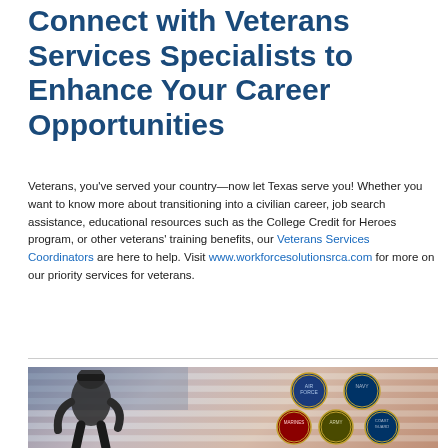Connect with Veterans Services Specialists to Enhance Your Career Opportunities
Veterans, you've served your country—now let Texas serve you! Whether you want to know more about transitioning into a civilian career, job search assistance, educational resources such as the College Credit for Heroes program, or other veterans' training benefits, our Veterans Services Coordinators are here to help. Visit www.workforcesolutionsrca.com for more on our priority services for veterans.
[Figure (photo): Photo of a soldier in military gear against a faint American flag background, with military branch seals (Air Force, Navy, Marines, Army, Coast Guard) displayed to the right]